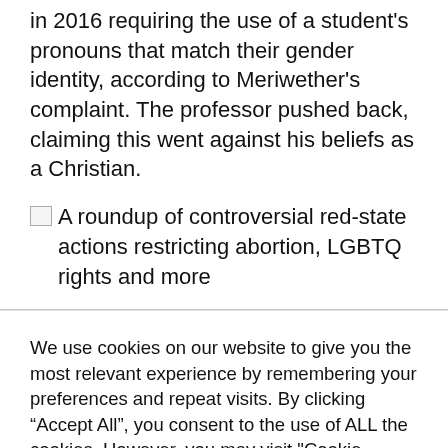in 2016 requiring the use of a student's pronouns that match their gender identity, according to Meriwether's complaint. The professor pushed back, claiming this went against his beliefs as a Christian.
[Figure (illustration): Broken image placeholder followed by caption text: A roundup of controversial red-state actions restricting abortion, LGBTQ rights and more]
We use cookies on our website to give you the most relevant experience by remembering your preferences and repeat visits. By clicking “Accept All”, you consent to the use of ALL the cookies. However, you may visit "Cookie Settings" to provide a controlled consent.